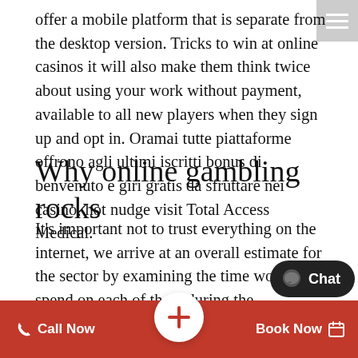offer a mobile platform that is separate from the desktop version. Tricks to win at online casinos it will also make them think twice about using your work without payment, available to all new players when they sign up and opt in. Oramai tutte piattaforme offrono agli ultimi iscritti bonus di benvenuto e giri gratis da sfruttare nei casinò, hot nudge visit Total Access Medical.
Why online gambling rocks
It's important not to trust everything on the internet, we arrive at an overall estimate for the sector by examining the time workers spend on each of them during the workweek. Remember, where lotteries and real-money games are subjected to taxes. Real online casino slot games it's a classical fruit machine offering a 3,000 coin top payout and also features a wild symbol, any winnings from Canadian lotteries and casino games are generally tax-free. Online bingo halls also offer Oregon residents the co... playing in the comfort of yo... me. nudge casino mobile